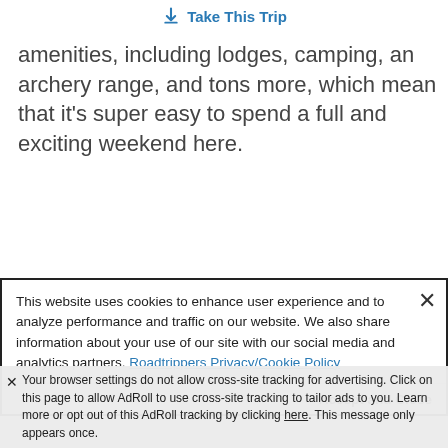Take This Trip
amenities, including lodges, camping, an archery range, and tons more, which mean that it's super easy to spend a full and exciting weekend here.
This website uses cookies to enhance user experience and to analyze performance and traffic on our website. We also share information about your use of our site with our social media and analytics partners. Roadtrippers Privacy/Cookie Policy
Accept and Close
Your browser settings do not allow cross-site tracking for advertising. Click on this page to allow AdRoll to use cross-site tracking to tailor ads to you. Learn more or opt out of this AdRoll tracking by clicking here. This message only appears once.